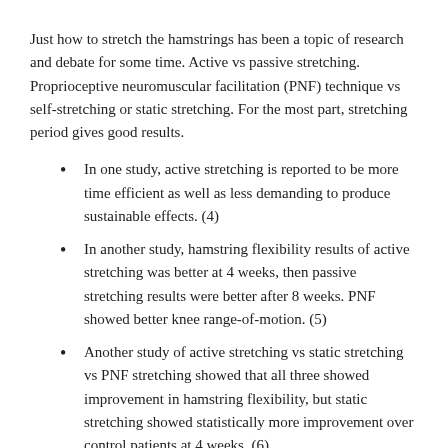Just how to stretch the hamstrings has been a topic of research and debate for some time. Active vs passive stretching. Proprioceptive neuromuscular facilitation (PNF) technique vs self-stretching or static stretching. For the most part, stretching period gives good results.
In one study, active stretching is reported to be more time efficient as well as less demanding to produce sustainable effects. (4)
In another study, hamstring flexibility results of active stretching was better at 4 weeks, then passive stretching results were better after 8 weeks. PNF showed better knee range-of-motion. (5)
Another study of active stretching vs static stretching  vs PNF stretching showed that all three showed improvement in hamstring flexibility, but static stretching showed statistically more improvement over control patients at 4 weeks. (6)
One Hamstring Stretching Method To Try
So what is best? Likely in Severna Park, the best is the technique